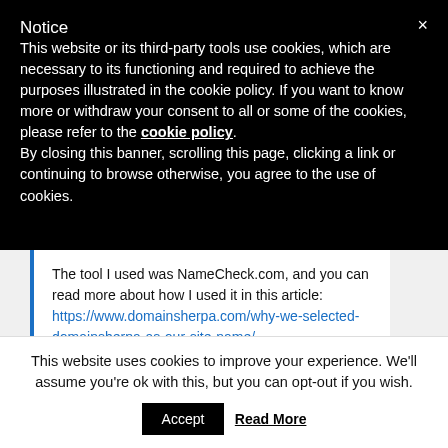Notice
This website or its third-party tools use cookies, which are necessary to its functioning and required to achieve the purposes illustrated in the cookie policy. If you want to know more or withdraw your consent to all or some of the cookies, please refer to the cookie policy.
By closing this banner, scrolling this page, clicking a link or continuing to browse otherwise, you agree to the use of cookies.
The tool I used was NameCheck.com, and you can read more about how I used it in this article:
https://www.domainsherpa.com/why-we-selected-domainsherpa-as-our-site-name/

Thanks and regards,
Michael
This website uses cookies to improve your experience. We'll assume you're ok with this, but you can opt-out if you wish.
Accept    Read More